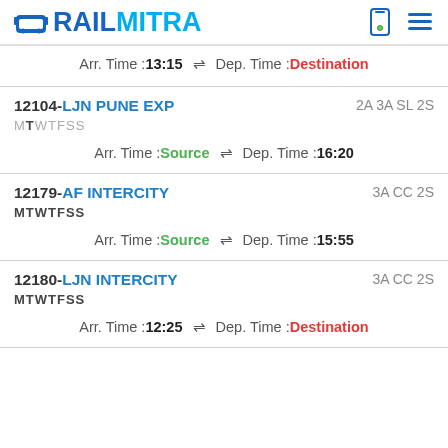RAILMITRA
Arr. Time :13:15 ⇌ Dep. Time :Destination
12104-LJN PUNE EXP
MTWTFSS
2A 3A SL 2S
Arr. Time :Source ⇌ Dep. Time :16:20
12179-AF INTERCITY
MTWTFSS
3A CC 2S
Arr. Time :Source ⇌ Dep. Time :15:55
12180-LJN INTERCITY
MTWTFSS
3A CC 2S
Arr. Time :12:25 ⇌ Dep. Time :Destination